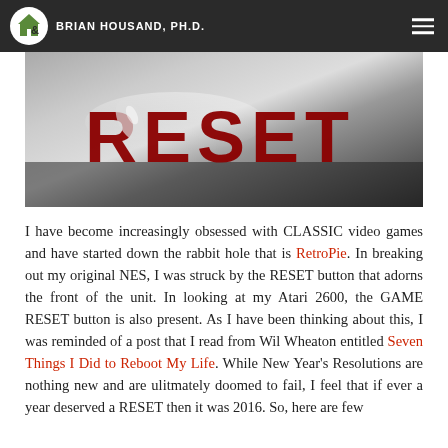BRIAN HOUSAND, PH.D.
[Figure (photo): Close-up photo of a RESET button, showing the word RESET in dark red raised letters on a metallic silver surface]
I have become increasingly obsessed with CLASSIC video games and have started down the rabbit hole that is RetroPie. In breaking out my original NES, I was struck by the RESET button that adorns the front of the unit. In looking at my Atari 2600, the GAME RESET button is also present. As I have been thinking about this, I was reminded of a post that I read from Wil Wheaton entitled Seven Things I Did to Reboot My Life. While New Year's Resolutions are nothing new and are ulitmately doomed to fail, I feel that if ever a year deserved a RESET then it was 2016. So, here are few